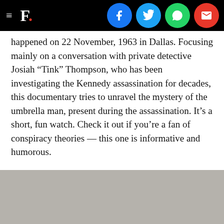F. [logo with hamburger menu and social share icons]
happened on 22 November, 1963 in Dallas. Focusing mainly on a conversation with private detective Josiah “Tink” Thompson, who has been investigating the Kennedy assassination for decades, this documentary tries to unravel the mystery of the umbrella man, present during the assassination. It’s a short, fun watch. Check it out if you’re a fan of conspiracy theories — this one is informative and humorous.
Father and Daughter
[Figure (photo): Grey placeholder image block at bottom of page]